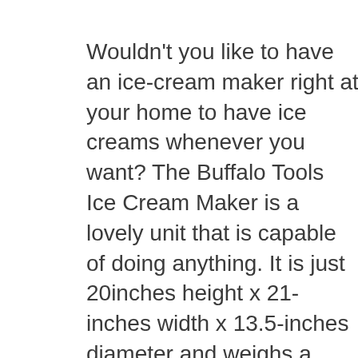Wouldn't you like to have an ice-cream maker right at your home to have ice creams whenever you want? The Buffalo Tools Ice Cream Maker is a lovely unit that is capable of doing anything. It is just 20inches height x 21-inches width x 13.5-inches diameter and weighs a meager 14 pounds. The external tub is from pine wood which prevents the cold from escaping.
On the other hand, the inner canister is made from aluminum which ensures proper dissipation of the cold. However, you will be surprised to know that you can even operate this hand crank product with electricity. Finally,